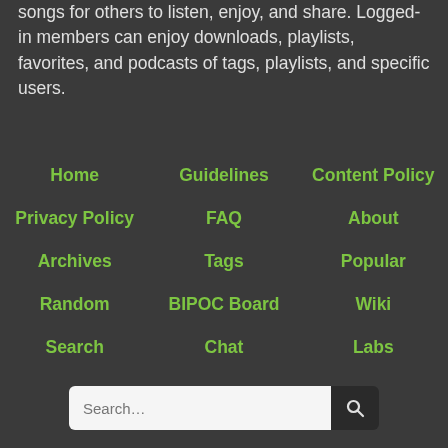songs for others to listen, enjoy, and share. Logged-in members can enjoy downloads, playlists, favorites, and podcasts of tags, playlists, and specific users.
Home
Guidelines
Content Policy
Privacy Policy
FAQ
About
Archives
Tags
Popular
Random
BIPOC Board
Wiki
Search
Chat
Labs
Search…